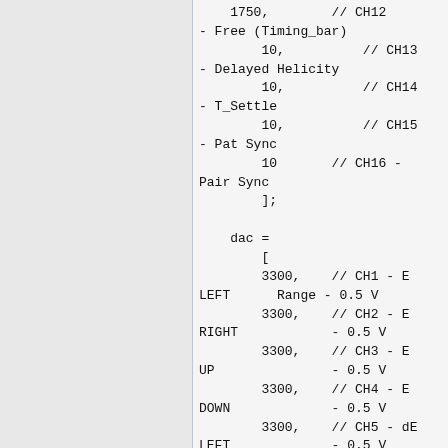1750,        // CH12 - Free (Timing_bar)
        10,          // CH13 - Delayed Helicity
        10,          // CH14 - T_Settle
        10,          // CH15 - Pat Sync
        10       // CH16 - Pair Sync
        ];

    dac =
        [
        3300,    // CH1 - E LEFT      Range - 0.5 V
        3300,    // CH2 - E RIGHT              - 0.5 V
        3300,    // CH3 - E UP              - 0.5 V
        3300,    // CH4 - E DOWN              - 0.5 V
        3300,    // CH5 - dE LEFT              - 0.5 V
        3300,    // CH6 - dE